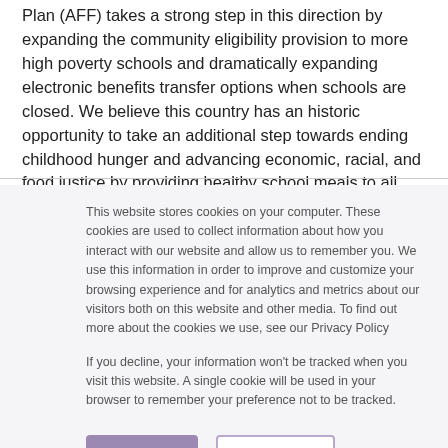Plan (AFF) takes a strong step in this direction by expanding the community eligibility provision to more high poverty schools and dramatically expanding electronic benefits transfer options when schools are closed. We believe this country has an historic opportunity to take an additional step towards ending childhood hunger and advancing economic, racial, and food justice by providing healthy school meals to all students.
This website stores cookies on your computer. These cookies are used to collect information about how you interact with our website and allow us to remember you. We use this information in order to improve and customize your browsing experience and for analytics and metrics about our visitors both on this website and other media. To find out more about the cookies we use, see our Privacy Policy
If you decline, your information won't be tracked when you visit this website. A single cookie will be used in your browser to remember your preference not to be tracked.